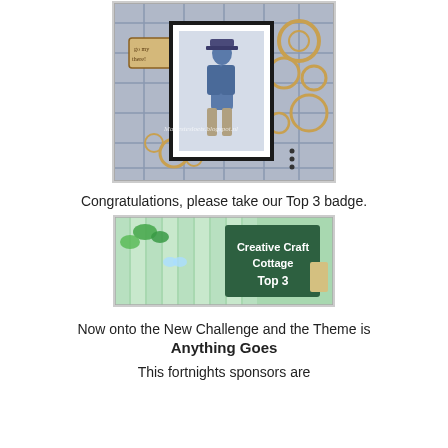[Figure (photo): Handmade craft card featuring a steampunk-style illustrated male figure in blue coat and hat, surrounded by wooden gear embellishments on a plaid fabric background, with a watermark reading Mariestesloets.blogspot.nl]
Congratulations, please take our Top 3 badge.
[Figure (photo): Creative Craft Cottage Top 3 badge with green background, mint-colored vertical stripes, and flower/butterfly decorations with text 'Creative Craft Cottage Top 3']
Now onto the New Challenge and the Theme is
Anything Goes
This fortnights sponsors are